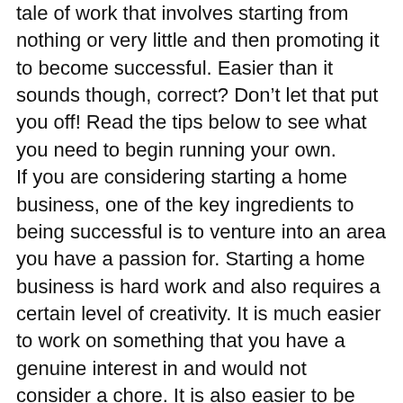tale of work that involves starting from nothing or very little and then promoting it to become successful. Easier than it sounds though, correct? Don't let that put you off! Read the tips below to see what you need to begin running your own. If you are considering starting a home business, one of the key ingredients to being successful is to venture into an area you have a passion for. Starting a home business is hard work and also requires a certain level of creativity. It is much easier to work on something that you have a genuine interest in and would not consider a chore. It is also easier to be creative since you will naturally come up with ideas as opposed to being forced to come up with ideas. You should always have a good business plan for your home business. You have the ability to change this or scrap it at any time. No matter what, a business plan is essential for keeping your business, and you, on track and focused on the goals you want your business to reach. If you run a business out of your home,